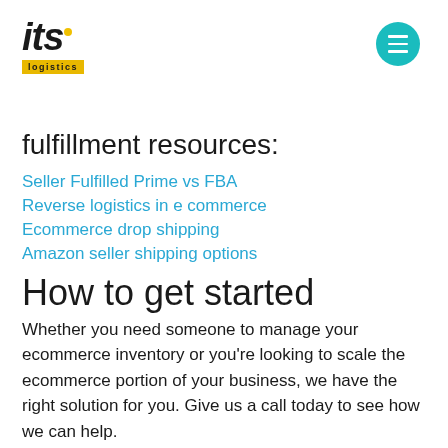[Figure (logo): ITS Logistics logo with italic bold 'its' text and yellow 'logistics' bar with yellow dot accent]
[Figure (other): Teal circular hamburger menu button with three horizontal white lines]
fulfillment resources:
Seller Fulfilled Prime vs FBA
Reverse logistics in e commerce
Ecommerce drop shipping
Amazon seller shipping options
How to get started
Whether you need someone to manage your ecommerce inventory or you’re looking to scale the ecommerce portion of your business, we have the right solution for you. Give us a call today to see how we can help.